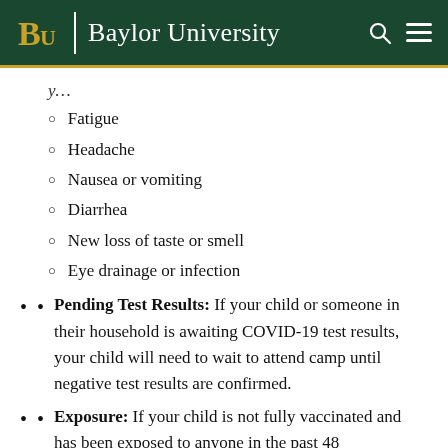Baylor University
Fatigue
Headache
Nausea or vomiting
Diarrhea
New loss of taste or smell
Eye drainage or infection
Pending Test Results: If your child or someone in their household is awaiting COVID-19 test results, your child will need to wait to attend camp until negative test results are confirmed.
Exposure: If your child is not fully vaccinated and has been exposed to anyone in the past 48